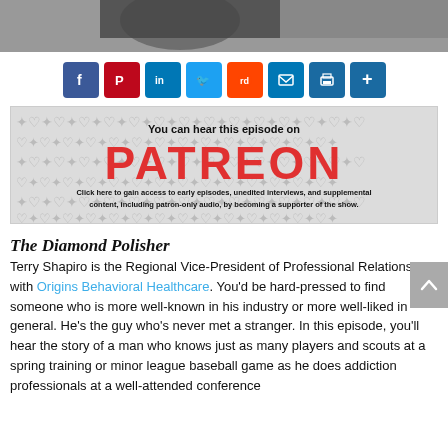[Figure (photo): Black and white photo cropped at top of page]
[Figure (other): Social sharing buttons row: Facebook, Pinterest, LinkedIn, Twitter, Reddit, Email, Print, Share]
[Figure (infographic): Patreon banner: 'You can hear this episode on PATREON. Click here to gain access to early episodes, unedited interviews, and supplemental content, including patron-only audio, by becoming a supporter of the show.']
The Diamond Polisher
Terry Shapiro is the Regional Vice-President of Professional Relations with Origins Behavioral Healthcare. You'd be hard-pressed to find someone who is more well-known in his industry or more well-liked in general. He's the guy who's never met a stranger. In this episode, you'll hear the story of a man who knows just as many players and scouts at a spring training or minor league baseball game as he does addiction professionals at a well-attended conference